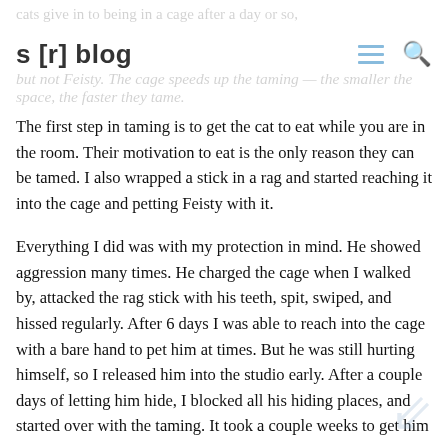s [r] blog
The first step in taming is to get the cat to eat while you are in the room. Their motivation to eat is the only reason they can be tamed. I also wrapped a stick in a rag and started reaching it into the cage and petting Feisty with it.
Everything I did was with my protection in mind. He showed aggression many times. He charged the cage when I walked by, attacked the rag stick with his teeth, spit, swiped, and hissed regularly. After 6 days I was able to reach into the cage with a bare hand to pet him at times. But he was still hurting himself, so I released him into the studio early. After a couple days of letting him hide, I blocked all his hiding places, and started over with the taming. It took a couple weeks to get him as